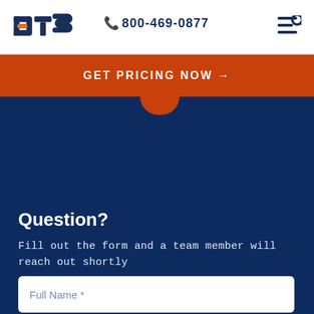DTS | 800-469-0877
GET PRICING NOW →
Question?
Fill out the form and a team member will reach out shortly
Full Name *
Email *